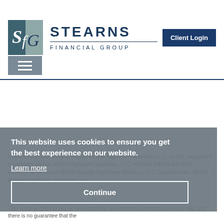[Figure (logo): Stearns Financial Group logo with SfG monogram icon and company name]
[Figure (other): Client Login button, dark navy blue background]
[Figure (other): Hamburger menu icon, gray background with three white horizontal lines]
Stearns Financial Group is registered with HighTower Advisors, LLC, an SEC registered investment adviser and/or Hightower Securities, LLC, member FINRA and SIPC. Advisory services are offered through HighTower Advisors, LLC. Securities are offered through HighTower Securities, LLC.
This website uses cookies to ensure you get the best experience on our website.
Learn more
Continue
This is not an offer to buy or sell securities. No investment process is free of risk, and there is no guarantee that the